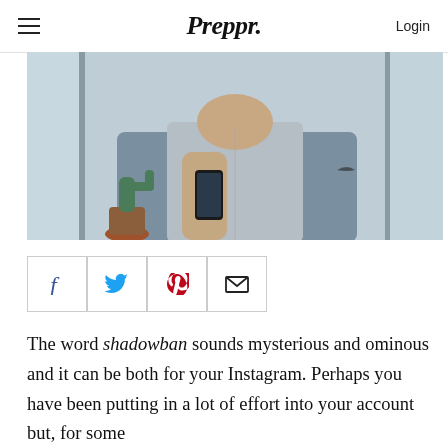Preppr. Login
[Figure (photo): Person holding a smartphone, wearing a grey hoodie and blue denim jacket, with a small cactus plant visible in background near a window]
[Figure (infographic): Social share buttons row: Facebook (f), Twitter bird, Pinterest (p), Email envelope]
The word shadowban sounds mysterious and ominous and it can be both for your Instagram. Perhaps you have been putting in a lot of effort into your account but, for some